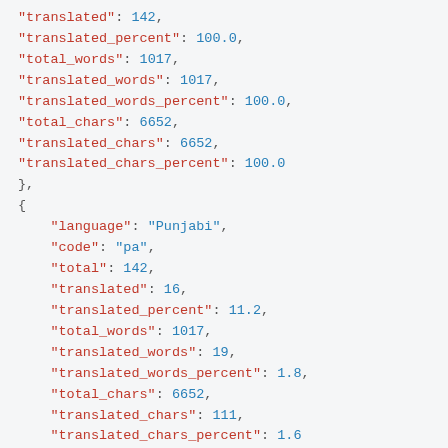"translated": 142,
"translated_percent": 100.0,
"total_words": 1017,
"translated_words": 1017,
"translated_words_percent": 100.0,
"total_chars": 6652,
"translated_chars": 6652,
"translated_chars_percent": 100.0
},
{
"language": "Punjabi",
"code": "pa",
"total": 142,
"translated": 16,
"translated_percent": 11.2,
"total_words": 1017,
"translated_words": 19,
"translated_words_percent": 1.8,
"total_chars": 6652,
"translated_chars": 111,
"translated_chars_percent": 1.6
},
{
"language": "Romanian",
"code": "ro",
"total": 142,